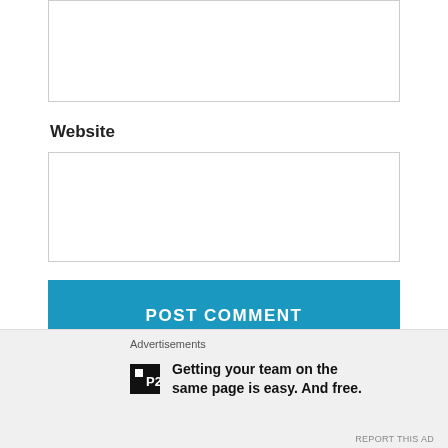[Figure (screenshot): Text input box (partial, top of page)]
Website
[Figure (screenshot): Website URL text input box]
[Figure (screenshot): POST COMMENT button in teal/blue]
Notify me of new comments via email.
Notify me of new posts via email.
This site uses Akismet to reduce spam. Learn how your comment data is processed
Advertisements
Getting your team on the same page is easy. And free.